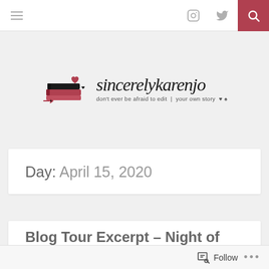Navigation bar with hamburger menu, Instagram icon, Twitter icon, and search button
[Figure (logo): sincerelykarenjo blog logo — stacked books illustration on the left, cursive brand name 'sincerelykarenjo' in script font, tagline: don't ever be afraid to edit your own story]
Day: April 15, 2020
Blog Tour Excerpt – Night of the
Follow ...